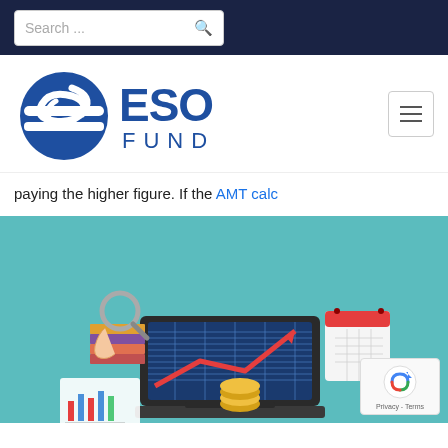Search ...
[Figure (logo): ESO Fund logo with circular globe icon and text ESO FUND in blue]
paying the higher figure. If the AMT calc
[Figure (illustration): Isometric illustration on teal background showing a laptop with financial data charts, stacks of books, magnifying glass, gold coins, red arrow going up, and a calendar]
[Figure (other): reCAPTCHA badge with Privacy and Terms links]